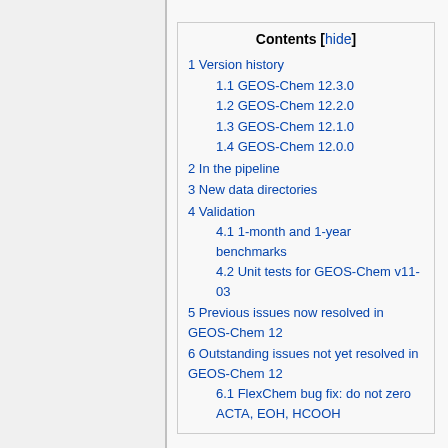| Contents [hide] |
| 1 Version history |
| 1.1 GEOS-Chem 12.3.0 |
| 1.2 GEOS-Chem 12.2.0 |
| 1.3 GEOS-Chem 12.1.0 |
| 1.4 GEOS-Chem 12.0.0 |
| 2 In the pipeline |
| 3 New data directories |
| 4 Validation |
| 4.1 1-month and 1-year benchmarks |
| 4.2 Unit tests for GEOS-Chem v11-03 |
| 5 Previous issues now resolved in GEOS-Chem 12 |
| 6 Outstanding issues not yet resolved in GEOS-Chem 12 |
| 6.1 FlexChem bug fix: do not zero ACTA, EOH, HCOOH |